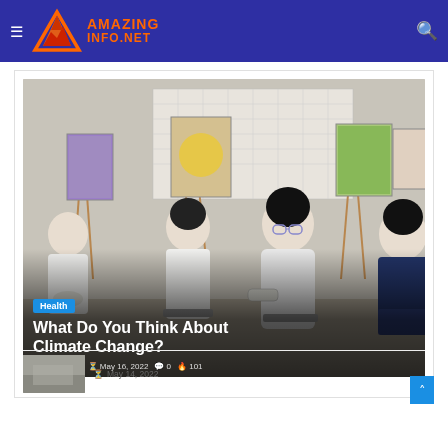Health is Good News
[Figure (logo): AmazingInfo.net logo with orange mountain/triangle icon and orange text on dark blue header background]
[Figure (photo): Students sitting in a circle in an art classroom with paintings on easels in the background, discussing something.]
Health
What Do You Think About Climate Change?
Maccullum   May 16, 2022   0   101
[Figure (photo): Small thumbnail image at bottom, gray/muted tones]
May 14, 2022